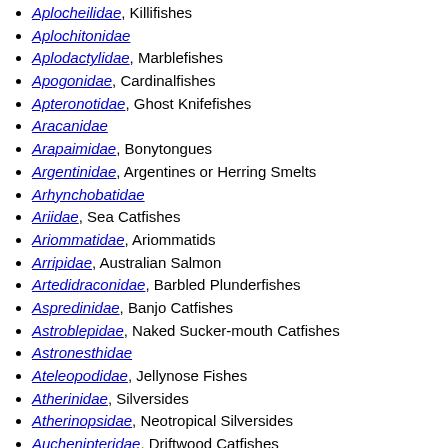Aplocheilidae, Killifishes
Aplochitonidae
Aplodactylidae, Marblefishes
Apogonidae, Cardinalfishes
Apteronotidae, Ghost Knifefishes
Aracanidae
Arapaimidae, Bonytongues
Argentinidae, Argentines or Herring Smelts
Arhynchobatidae
Ariidae, Sea Catfishes
Ariommatidae, Ariommatids
Arripidae, Australian Salmon
Artedidraconidae, Barbled Plunderfishes
Aspredinidae, Banjo Catfishes
Astroblepidae, Naked Sucker-mouth Catfishes
Astronesthidae
Ateleopodidae, Jellynose Fishes
Atherinidae, Silversides
Atherinopsidae, Neotropical Silversides
Auchenipteridae, Driftwood Catfishes
Aulopidae, Aulopus
Aulorhynchidae, Tubesnouts
Aulostomidae, Trumpetfishes
Badidae
Bagridae, Bagrid Catfishes